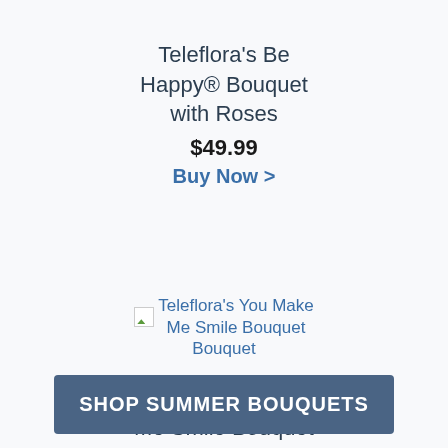Teleflora's Be Happy® Bouquet with Roses
$49.99
Buy Now >
[Figure (photo): Broken image placeholder for Teleflora's You Make Me Smile Bouquet]
Teleflora's You Make Me Smile Bouquet Bouquet
Teleflora's You Make Me Smile Bouquet
$69.99
Buy Now >
SHOP SUMMER BOUQUETS